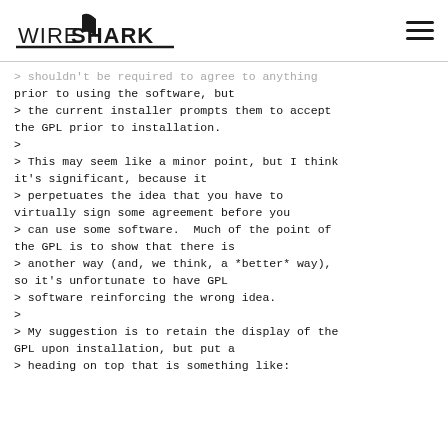WIRESHARK [navigation header with hamburger menu]
> [faded: 1. Note: this was submitted as bug 4355-1] [faded: > [something] cover image, just] [faded: > [something] distribution. Users] > shouldn't be required to agree to anything prior to using the software, but > the current installer prompts them to accept the GPL prior to installation. > > This may seem like a minor point, but I think it's significant, because it > perpetuates the idea that you have to virtually sign some agreement before you > can use some software.  Much of the point of the GPL is to show that there is > another way (and, we think, a *better* way), so it's unfortunate to have GPL > software reinforcing the wrong idea. > > My suggestion is to retain the display of the GPL upon installation, but put a > heading on top that is something like: